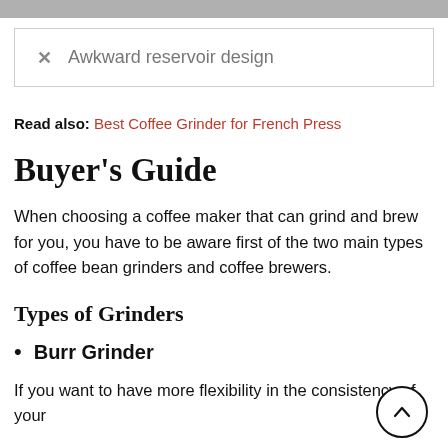✕  Awkward reservoir design
Read also: Best Coffee Grinder for French Press
Buyer's Guide
When choosing a coffee maker that can grind and brew for you, you have to be aware first of the two main types of coffee bean grinders and coffee brewers.
Types of Grinders
Burr Grinder
If you want to have more flexibility in the consistency of your